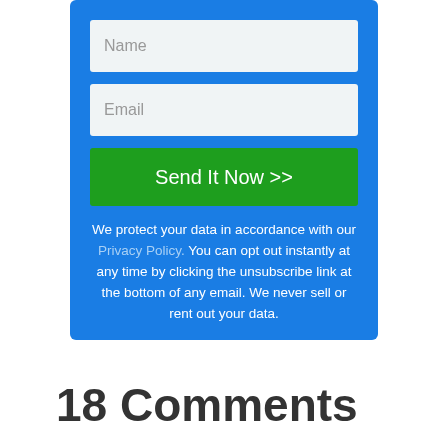[Figure (screenshot): A web form with blue background containing a Name input field, Email input field, a green 'Send It Now >>' button, and privacy policy text below.]
We protect your data in accordance with our Privacy Policy. You can opt out instantly at any time by clicking the unsubscribe link at the bottom of any email. We never sell or rent out your data.
18 Comments